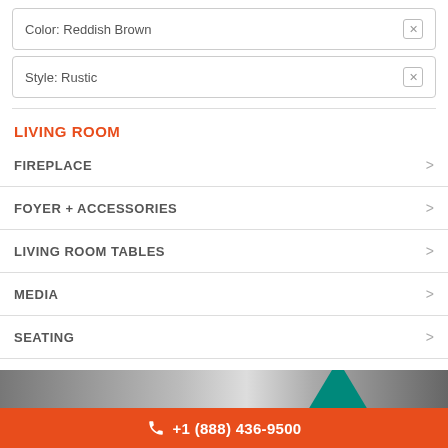Color: Reddish Brown
Style: Rustic
LIVING ROOM
FIREPLACE
FOYER + ACCESSORIES
LIVING ROOM TABLES
MEDIA
SEATING
STORAGE
[Figure (photo): Partially visible image of living room furniture at the bottom]
+1 (888) 436-9500